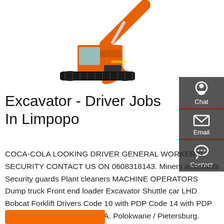[Figure (photo): Orange excavator/digger machine on white background, shown in side profile with arm extended upward and bucket visible at top.]
Excavator - Driver Jobs In Limpopo
COCA-COLA LOOKING DRIVER GENERAL WORKER S, SECURITY CONTACT US ON 0608318143. Miners assistants Security guards Plant cleaners MACHINE OPERATORS Dump truck Front end loader Excavator Shuttle car LHD Bobcat Forklift Drivers Code 10 with PDP Code 14 with PDP ENGINEERING. COCA COLA. Polokwane / Pietersburg.
[Figure (infographic): Dark grey sidebar with three contact icons: Chat (headset icon), Email (envelope icon), Contact (speech bubble with dots icon), each separated by a red underline.]